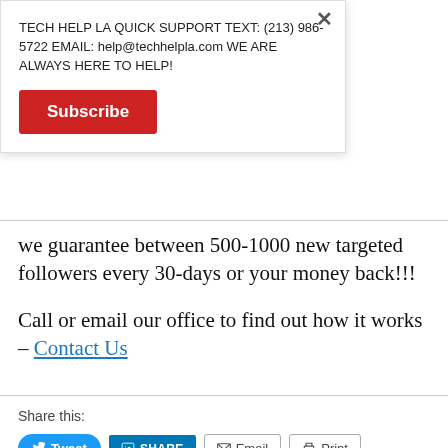TECH HELP LA QUICK SUPPORT TEXT: (213) 986-5722 EMAIL: help@techhelpla.com WE ARE ALWAYS HERE TO HELP!
Subscribe
we guarantee between 500-1000 new targeted followers every 30-days or your money back!!!
Call or email our office to find out how it works – Contact Us
Share this:
Tweet  SHARE  Email  Print